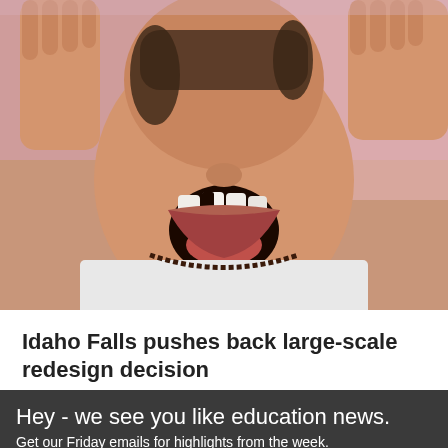[Figure (photo): Close-up photo of a young girl with her mouth open wide showing missing teeth, wearing a white shirt and dark bead necklace, hands raised near her face]
Idaho Falls pushes back large-scale redesign decision
Hey - we see you like education news.
Get our Friday emails for highlights from the week.
Email address
Subscribe
No, thanks